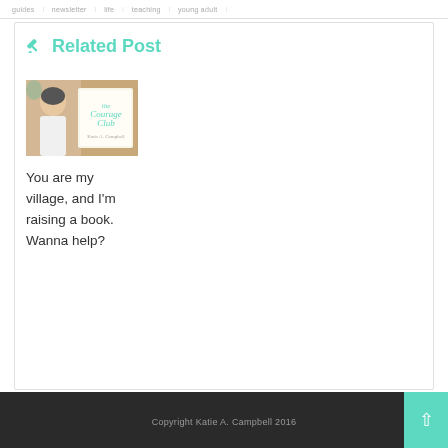guides | newsletter | life | teaching | young adult |
Related Post
[Figure (photo): A person sitting next to a book titled 'The Courage Club' on a wooden surface with plants in the background]
You are my village, and I'm raising a book. Wanna help?
Copyright Katie A. Campbell 2016